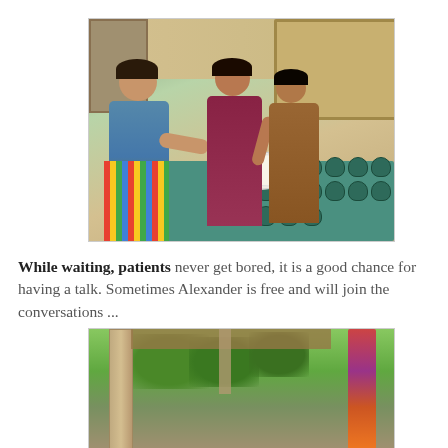[Figure (photo): Three people working at a table covered with green cloth, sorting and packing teal/green bags, possibly medical supply kits, in an indoor setting with ornate wooden doors in the background.]
While waiting, patients never get bored, it is a good chance for having a talk. Sometimes Alexander is free and will join the conversations ...
[Figure (photo): View from a covered porch or veranda looking out to lush green trees, with a pillar on the left and what appears to be a colorful umbrella or bag on the right side.]